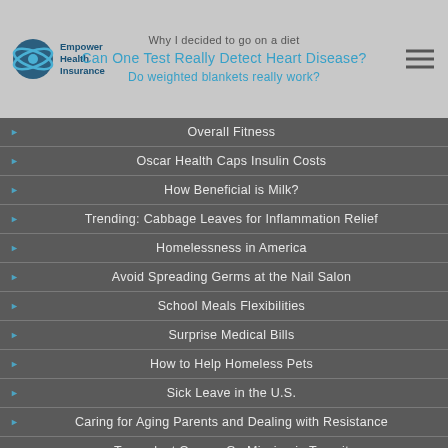Empower Health Insurance | Can One Test Really Detect Heart Disease? | Do weighted blankets really work?
Overall Fitness
Oscar Health Caps Insulin Costs
How Beneficial is Milk?
Trending: Cabbage Leaves for Inflammation Relief
Homelessness in America
Avoid Spreading Germs at the Nail Salon
School Meals Flexibilities
Surprise Medical Bills
How to Help Homeless Pets
Sick Leave in the U.S.
Caring for Aging Parents and Dealing with Resistance
Transplant Organs Go Missing in Transit
Introducing Your Dog to Your Newborn Baby
Visiting a Newborn in the Hospital
Coronavirus: Defining 'Close Contact'
Football: Health Assessment Post-Career